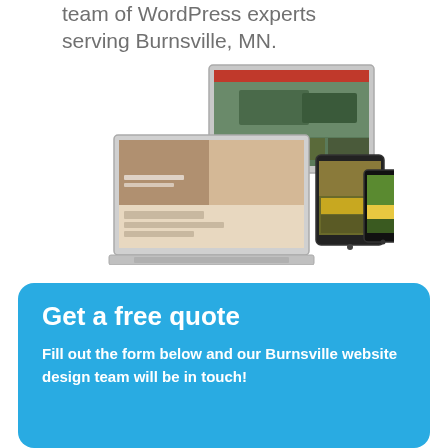team of WordPress experts serving Burnsville, MN.
[Figure (illustration): Multi-device mockup showing a website displayed on a desktop monitor, laptop, tablet, and smartphone, all showing various web pages with vehicle/outdoor imagery.]
Get a free quote
Fill out the form below and our Burnsville website design team will be in touch!